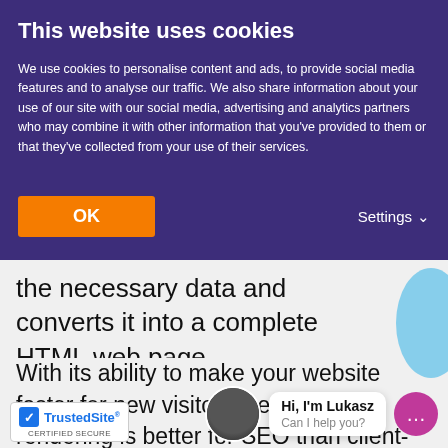This website uses cookies
We use cookies to personalise content and ads, to provide social media features and to analyse our traffic. We also share information about your use of our site with our social media, advertising and analytics partners who may combine it with other information that you've provided to them or that they've collected from your use of their services.
OK
Settings
the necessary data and converts it into a complete HTML web page.
With its ability to make your website faster for new visitors, server-side rendering is better for SEO than client-side rendering. Speed is a major ranking signal. If your website has fast load times, it will provide a positive and enjoyable experience to visitors, so search engines may give it a boost in the search results. You can d... endering as well, but this alternative
[Figure (screenshot): TrustedSite certified secure badge at bottom left]
[Figure (screenshot): Chat widget with avatar of Lukasz saying 'Hi, I'm Lukasz - Can I help you?' and a purple chat button]